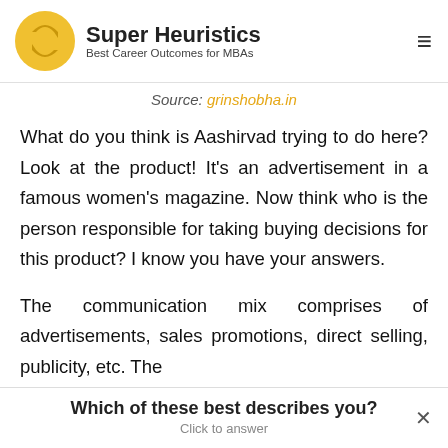Super Heuristics — Best Career Outcomes for MBAs
Source: grinshobha.in
What do you think is Aashirvad trying to do here? Look at the product! It's an advertisement in a famous women's magazine. Now think who is the person responsible for taking buying decisions for this product? I know you have your answers.
The communication mix comprises of advertisements, sales promotions, direct selling, publicity, etc. The
Which of these best describes you? Click to answer